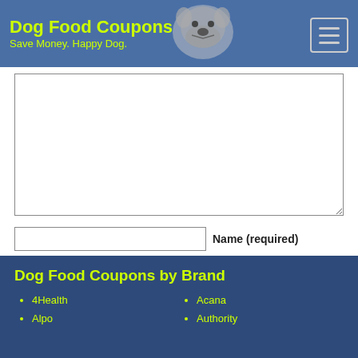Dog Food Coupons — Save Money. Happy Dog.
[Figure (illustration): Bulldog illustration in header]
Comment textarea (empty)
Name (required)
Email (will not be published) (required)
Website
Submit Comment
Dog Food Coupons by Brand
4Health
Alpo
Acana
Authority